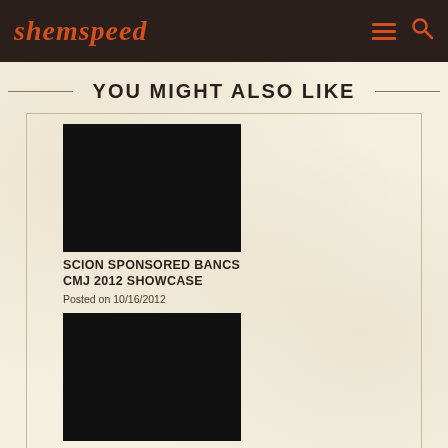shemspeed
YOU MIGHT ALSO LIKE
[Figure (photo): Black image placeholder for article thumbnail]
SCION SPONSORED BANCS CMJ 2012 SHOWCASE
Posted on 10/16/2012
[Figure (photo): Black image placeholder for article thumbnail]
MAX JARED ALBUM OUT NOW! NYC PARTY THIS THURSDAY!
Posted on 08/28/2012
[Figure (photo): Black image placeholder for article thumbnail (partial, bottom row left)]
[Figure (photo): Black image placeholder for article thumbnail (partial, bottom row right)]